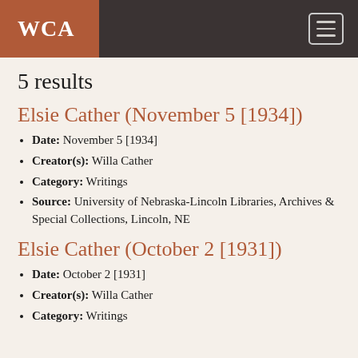WCA
5 results
Elsie Cather (November 5 [1934])
Date: November 5 [1934]
Creator(s): Willa Cather
Category: Writings
Source: University of Nebraska-Lincoln Libraries, Archives & Special Collections, Lincoln, NE
Elsie Cather (October 2 [1931])
Date: October 2 [1931]
Creator(s): Willa Cather
Category: Writings